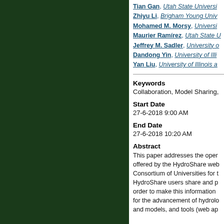Tian Gan, Utah State Universi…
Zhiyu Li, Brigham Young Univ…
Mohamed M. Morsy, Universi…
Maurier Ramírez, Utah State U…
Jeffrey M. Sadler, University o…
Dandong Yin, University of Illi…
Yan Liu, University of Illinois a…
Keywords
Collaboration, Model Sharing, …
Start Date
27-6-2018 9:00 AM
End Date
27-6-2018 10:20 AM
Abstract
This paper addresses the oper… offered by the HydroShare web… Consortium of Universities for t… HydroShare users share and p… order to make this information … for the advancement of hydrolo… and models, and tools (web ap…